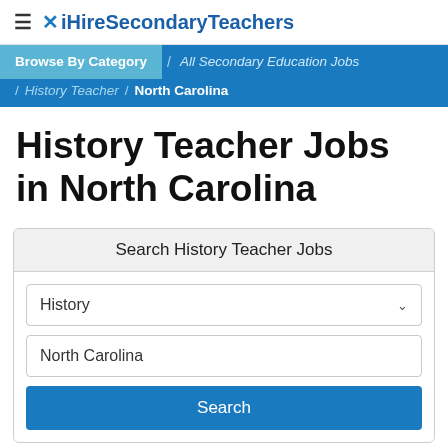≡ × iHireSecondaryTeachers
Browse By Category / All Secondary Education Jobs / History Teacher / North Carolina
History Teacher Jobs in North Carolina
Search History Teacher Jobs
History
North Carolina
Search